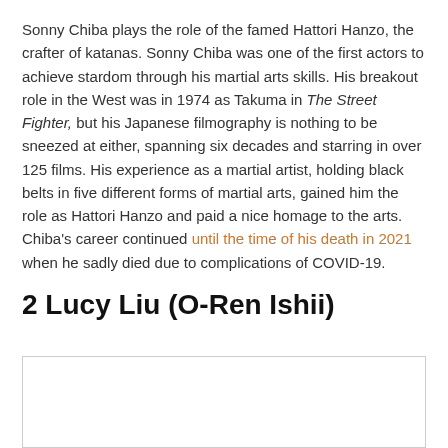Sonny Chiba plays the role of the famed Hattori Hanzo, the crafter of katanas. Sonny Chiba was one of the first actors to achieve stardom through his martial arts skills. His breakout role in the West was in 1974 as Takuma in The Street Fighter, but his Japanese filmography is nothing to be sneezed at either, spanning six decades and starring in over 125 films. His experience as a martial artist, holding black belts in five different forms of martial arts, gained him the role as Hattori Hanzo and paid a nice homage to the arts. Chiba's career continued until the time of his death in 2021 when he sadly died due to complications of COVID-19.
2 Lucy Liu (O-Ren Ishii)
[Figure (photo): Empty image placeholder box with a border, partially visible at the bottom of the page]